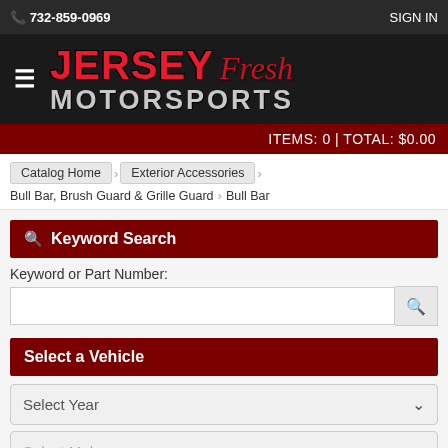732-859-0969   SIGN IN
[Figure (logo): Jersey Fresh Motorsports logo with hamburger menu icon on dark background]
ITEMS: 0 | TOTAL: $0.00
Catalog Home > Exterior Accessories > Bull Bar, Brush Guard & Grille Guard > Bull Bar
Keyword Search
Keyword or Part Number:
Select a Vehicle
Select Year
Select Make